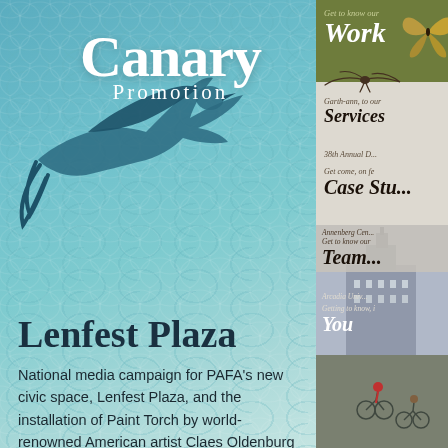[Figure (illustration): Canary Promotion logo with blue bird silhouette flying and white text 'Canary Promotion' on teal blue scallop-patterned background]
Lenfest Plaza
National media campaign for PAFA's new civic space, Lenfest Plaza, and the installation of Paint Torch by world-renowned American artist Claes Oldenburg
[Figure (screenshot): Right sidebar navigation panel showing: Get to know our Work (green header with butterfly), Services, 38th Annual, Case Studies, Team (Annenberg Center), Arcadia University, Getting to know You - with photo of Philadelphia city hall and cyclists]